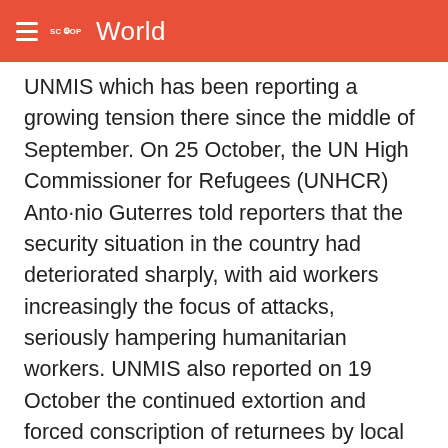SCOOP World
UNMIS which has been reporting a growing tension there since the middle of September. On 25 October, the UN High Commissioner for Refugees (UNHCR) Anto·nio Guterres told reporters that the security situation in the country had deteriorated sharply, with aid workers increasingly the focus of attacks, seriously hampering humanitarian workers. UNMIS also reported on 19 October the continued extortion and forced conscription of returnees by local militias in the war-torn country.
ENDS